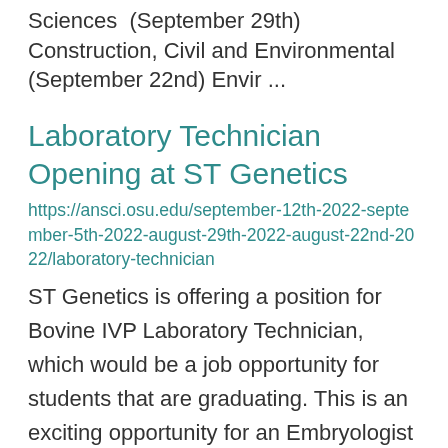Sciences  (September 29th) Construction, Civil and Environmental  (September 22nd) Envir ...
Laboratory Technician Opening at ST Genetics
https://ansci.osu.edu/september-12th-2022-september-5th-2022-august-29th-2022-august-22nd-2022/laboratory-technician
ST Genetics is offering a position for Bovine IVP Laboratory Technician, which would be a job opportunity for students that are graduating. This is an exciting opportunity for an Embryologist to join their team in South Charleston Ohio. The ideal candidate...